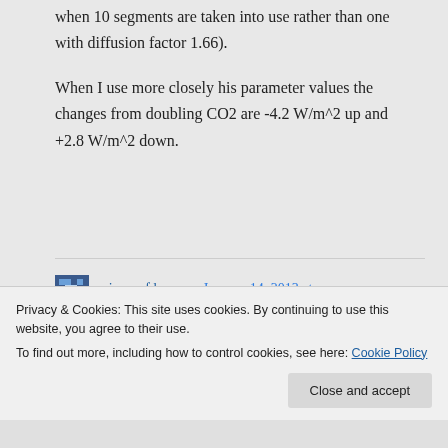when 10 segments are taken into use rather than one with diffusion factor 1.66).
When I use more closely his parameter values the changes from doubling CO2 are -4.2 W/m^2 up and +2.8 W/m^2 down.
scienceofdoom on January 14, 2013 at
Privacy & Cookies: This site uses cookies. By continuing to use this website, you agree to their use.
To find out more, including how to control cookies, see here: Cookie Policy